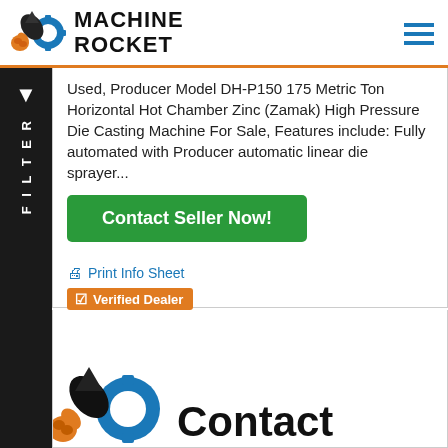[Figure (logo): Machine Rocket logo with rocket and gear icon, bold text 'MACHINE ROCKET']
Used, Producer Model DH-P150 175 Metric Ton Horizontal Hot Chamber Zinc (Zamak) High Pressure Die Casting Machine For Sale, Features include: Fully automated with Producer automatic linear die sprayer...
Contact Seller Now!
Print Info Sheet
Verified Dealer
[Figure (logo): Partial Machine Rocket logo (rocket and gear) visible at bottom left, with bold 'Contact' text to the right]